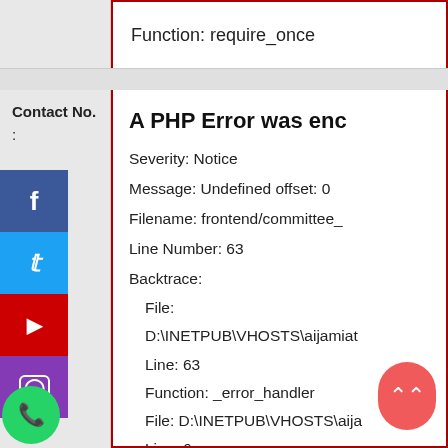Function: require_once
Contact No.
:
A PHP Error was enc
Severity: Notice
Message: Undefined offset: 0
Filename: frontend/committee_
Line Number: 63
Backtrace:
File:
D:\INETPUB\VHOSTS\aijamiat
Line: 63
Function: _error_handler
File: D:\INETPUB\VHOSTS\aija
Line: 6
Function: view
File: D:\INETPUB\VHOSTS\aija
Line: 52